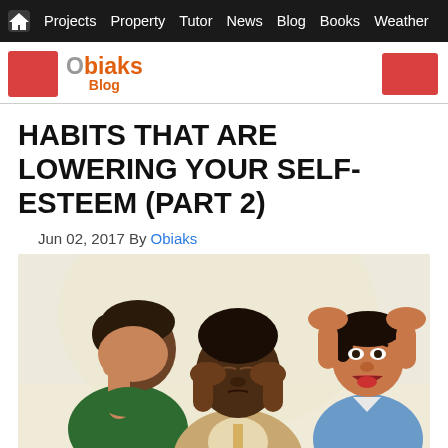Projects  Property  Tutor  News  Blog  Books  Weather
[Figure (logo): Obiaks Blog logo with red square and stylized text]
HABITS THAT ARE LOWERING YOUR SELF-ESTEEM (PART 2)
Jun 02, 2017 By Obiaks
[Figure (illustration): Illustration of three men showing distress: one covering face, one with fingers to temples eyes closed, one angry with hands on head]